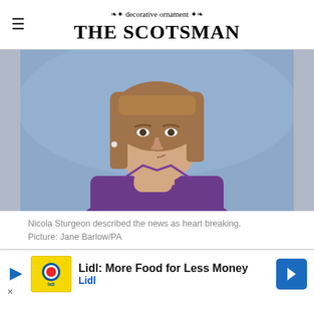THE SCOTSMAN
[Figure (photo): Nicola Sturgeon in a purple jacket, holding her finger to her lips in a thoughtful pose against a blue background.]
Nicola Sturgeon described the news as heart breaking. Picture: Jane Barlow/PA
Ca... me... s
[Figure (other): Lidl advertisement banner: 'Lidl: More Food for Less Money' with Lidl logo and navigation arrow.]